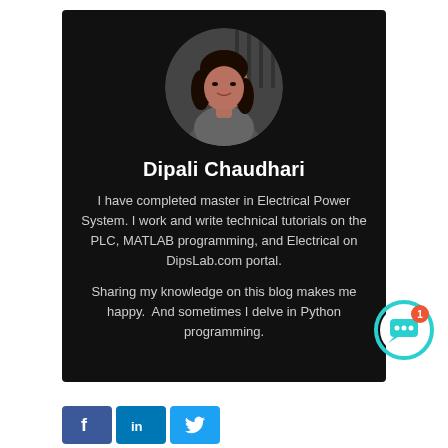[Figure (photo): Circular profile photo of Dipali Chaudhari, a woman with dark hair, wearing a grey patterned sleeveless top, standing in front of a metal fence/gate background.]
Dipali Chaudhari
I have completed master in Electrical Power System. I work and write technical tutorials on the PLC, MATLAB programming, and Electrical on DipsLab.com portal.
Sharing my knowledge on this blog makes me happy.  And sometimes I delve in Python programming.
[Figure (illustration): Chat widget icon — circular button with teal/green ring, white background, speech bubble icon, and red notification badge showing '1'.]
[Figure (illustration): Social media buttons row at the bottom: Facebook (dark blue with 'f' icon), LinkedIn (blue with 'in' icon), Twitter (light blue with bird icon).]